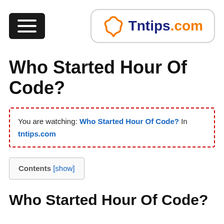[Figure (logo): Hamburger menu icon (three horizontal white lines on black rounded rectangle background)]
[Figure (logo): Tntips.com logo: orange star outline icon followed by dark blue 'Tntips' and orange '.com' text, inside a rounded rectangle border]
Who Started Hour Of Code?
You are watching: Who Started Hour Of Code? In tntips.com
Contents [show]
Who Started Hour Of Code?